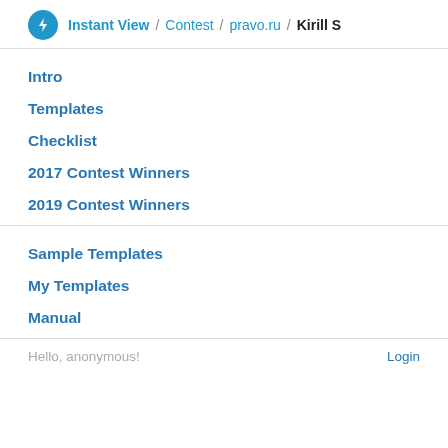Instant View / Contest / pravo.ru / Kirill S
Intro
Templates
Checklist
2017 Contest Winners
2019 Contest Winners
Sample Templates
My Templates
Manual
Hello, anonymous!    Login